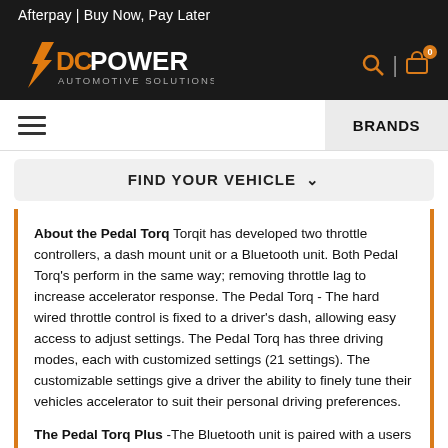Afterpay | Buy Now, Pay Later
[Figure (logo): DC Power Automotive Solutions logo in orange and white on dark background]
BRANDS
FIND YOUR VEHICLE
About the Pedal Torq Torqit has developed two throttle controllers, a dash mount unit or a Bluetooth unit. Both Pedal Torq's perform in the same way; removing throttle lag to increase accelerator response. The Pedal Torq - The hard wired throttle control is fixed to a driver's dash, allowing easy access to adjust settings. The Pedal Torq has three driving modes, each with customized settings (21 settings). The customizable settings give a driver the ability to finely tune their vehicles accelerator to suit their personal driving preferences.
The Pedal Torq Plus -The Bluetooth unit is paired with a users